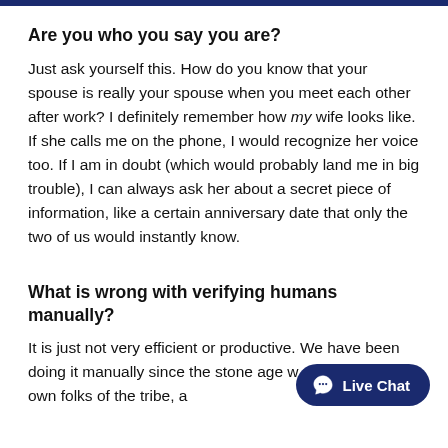Are you who you say you are?
Just ask yourself this. How do you know that your spouse is really your spouse when you meet each other after work? I definitely remember how my wife looks like. If she calls me on the phone, I would recognize her voice too. If I am in doubt (which would probably land me in big trouble), I can always ask her about a secret piece of information, like a certain anniversary date that only the two of us would instantly know.
What is wrong with verifying humans manually?
It is just not very efficient or productive. We have been doing it manually since the stone age w remember our own folks of the tribe, a